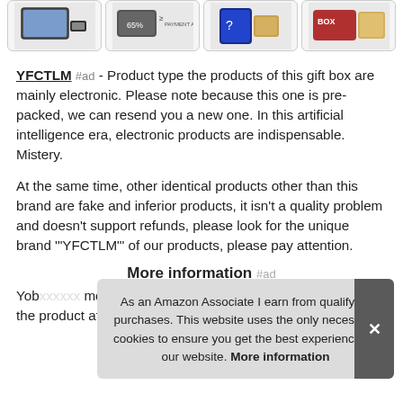[Figure (other): Row of four product thumbnail images showing electronic/mystery gift box products]
YFCTLM #ad - Product type the products of this gift box are mainly electronic. Please note because this one is pre-packed, we can resend you a new one. In this artificial intelligence era, electronic products are indispensable. Mistery.
At the same time, other identical products other than this brand are fake and inferior products, it isn't a quality problem and doesn't support refunds, please look for the unique brand "YFCTLM" of our products, please pay attention.
More information #ad
Yob... mob... low... the product after receiving it, our exclusive brand has been
As an Amazon Associate I earn from qualifying purchases. This website uses the only necessary cookies to ensure you get the best experience on our website. More information